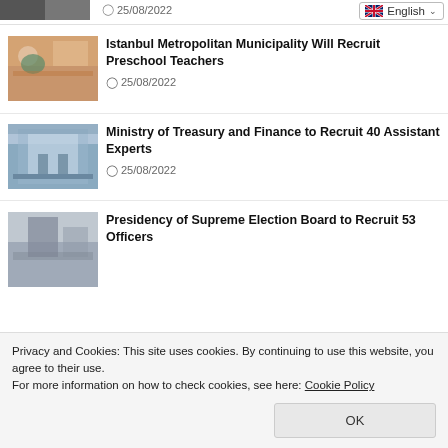[Figure (screenshot): Partial news item image at top with date 25/08/2022]
[Figure (screenshot): Language selector dropdown showing English with UK flag]
[Figure (photo): Children and teacher doing an activity, preschool classroom scene]
Istanbul Metropolitan Municipality Will Recruit Preschool Teachers
25/08/2022
[Figure (photo): Ministry of Treasury and Finance building exterior]
Ministry of Treasury and Finance to Recruit 40 Assistant Experts
25/08/2022
[Figure (photo): Person at desk with laptop, election board context]
Presidency of Supreme Election Board to Recruit 53 Officers
Privacy and Cookies: This site uses cookies. By continuing to use this website, you agree to their use.
For more information on how to check cookies, see here: Cookie Policy